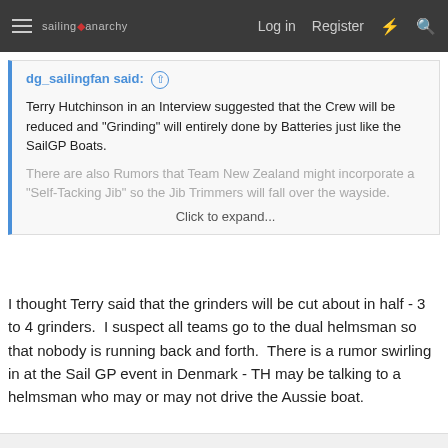sailing anarchy — Log in  Register
dg_sailingfan said: ↑
Terry Hutchinson in an Interview suggested that the Crew will be reduced and "Grinding" will entirely done by Batteries just like the SailGP Boats.
There are also Rumors that Team New Zealand might incorporate a "Self-Tacking Jib" so the Jib Trimmers will fall over the wayside.
Click to expand...
I thought Terry said that the grinders will be cut about in half - 3 to 4 grinders.  I suspect all teams go to the dual helmsman so that nobody is running back and forth.  There is a rumor swirling in at the Sail GP event in Denmark - TH may be talking to a helmsman who may or may not drive the Aussie boat.